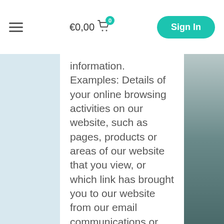€0,00  Sign In
information. Examples: Details of your online browsing activities on our website, such as pages, products or areas of our website that you view, or which link has brought you to our website from our email communications or third-party websites. Information that is